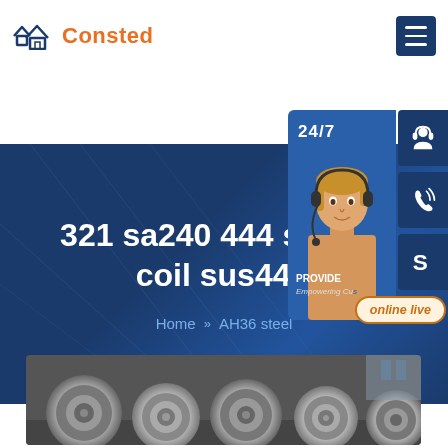[Figure (screenshot): Consted website header with logo (house icon and orange 'Consted' text) on left, dark blue hamburger menu button on right]
[Figure (screenshot): Hero banner with dark blue background showing '321 sa240 444 stainle... coil sus444' title in white bold text, breadcrumb 'Home >> AH36 steel' in blue text]
[Figure (screenshot): Side panel with 24/7 support customer service panel showing woman with headset, icons for headset/phone/Skype, and 'online live' button]
[Figure (photo): Photo of steel coil rolls stored in a warehouse/industrial setting]